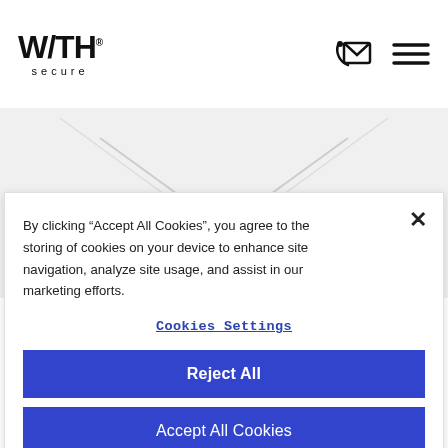WITH secure
[Figure (illustration): Abstract geometric background with overlapping chevron/arrow shapes in light gray and dotted blue lines]
By clicking “Accept All Cookies”, you agree to the storing of cookies on your device to enhance site navigation, analyze site usage, and assist in our marketing efforts.
Cookies Settings
Reject All
Accept All Cookies